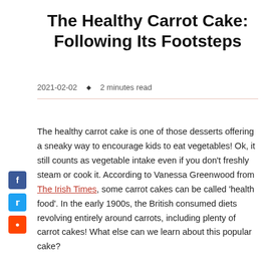The Healthy Carrot Cake: Following Its Footsteps
2021-02-02 ◆ 2 minutes read
The healthy carrot cake is one of those desserts offering a sneaky way to encourage kids to eat vegetables! Ok, it still counts as vegetable intake even if you don't freshly steam or cook it. According to Vanessa Greenwood from The Irish Times, some carrot cakes can be called 'health food'. In the early 1900s, the British consumed diets revolving entirely around carrots, including plenty of carrot cakes! What else can we learn about this popular cake?